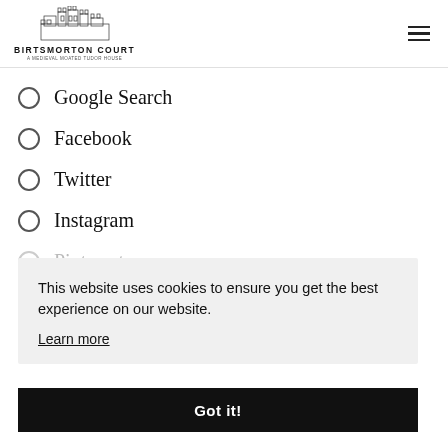BIRTSMORTON COURT
Google Search
Facebook
Twitter
Instagram
Pinterest
Magazine/publication
Attended (in person)
Other
This website uses cookies to ensure you get the best experience on our website.
Learn more
Got it!